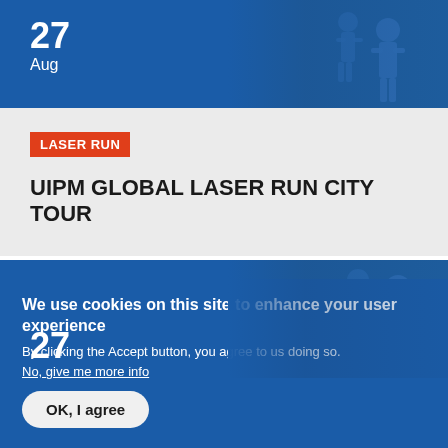[Figure (photo): Blue card with date 27 Aug and athlete photo on the right]
27
Aug
LASER RUN
UIPM GLOBAL LASER RUN CITY TOUR
[Figure (photo): Blue card with number 27 and athlete photo on the right]
27
We use cookies on this site to enhance your user experience
By clicking the Accept button, you agree to us doing so.
No, give me more info
OK, I agree